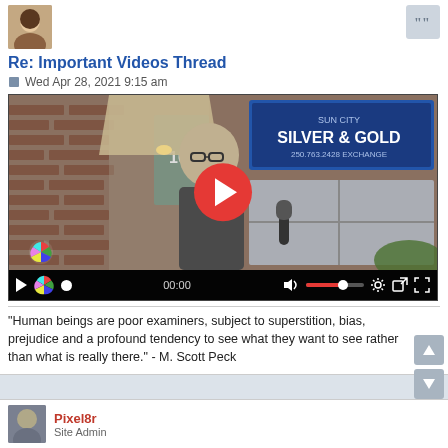[Figure (photo): User avatar: woman with light skin and dark hair]
Re: Important Videos Thread
Wed Apr 28, 2021 9:15 am
[Figure (screenshot): Embedded video player showing a man in glasses standing outside a brick building with a 'Sun City Silver & Gold Exchange' sign. Video controls show 00:00 timecode and a large red play button in the center.]
"Human beings are poor examiners, subject to superstition, bias, prejudice and a profound tendency to see what they want to see rather than what is really there." - M. Scott Peck
Pixel8r
Site Admin